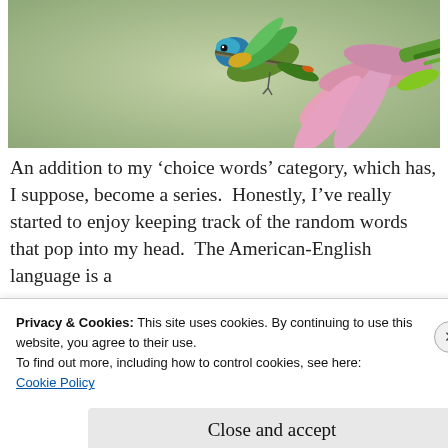[Figure (photo): A hummingbird hovering near a pink tropical flower with colorful plumage, set against a soft green blurred background.]
An addition to my ‘choice words’ category, which has, I suppose, become a series.  Honestly, I’ve really started to enjoy keeping track of the random words that pop into my head.  The American-English language is a
Privacy & Cookies: This site uses cookies. By continuing to use this website, you agree to their use.
To find out more, including how to control cookies, see here:
Cookie Policy
Close and accept